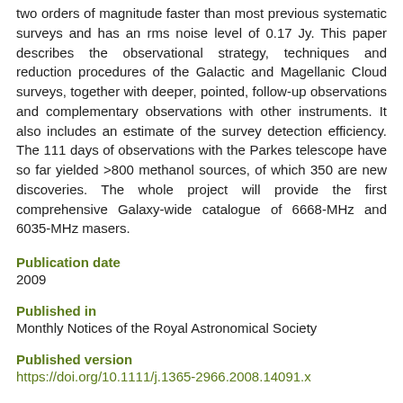two orders of magnitude faster than most previous systematic surveys and has an rms noise level of 0.17 Jy. This paper describes the observational strategy, techniques and reduction procedures of the Galactic and Magellanic Cloud surveys, together with deeper, pointed, follow-up observations and complementary observations with other instruments. It also includes an estimate of the survey detection efficiency. The 111 days of observations with the Parkes telescope have so far yielded >800 methanol sources, of which 350 are new discoveries. The whole project will provide the first comprehensive Galaxy-wide catalogue of 6668-MHz and 6035-MHz masers.
Publication date
2009
Published in
Monthly Notices of the Royal Astronomical Society
Published version
https://doi.org/10.1111/j.1365-2966.2008.14091.x
Other links